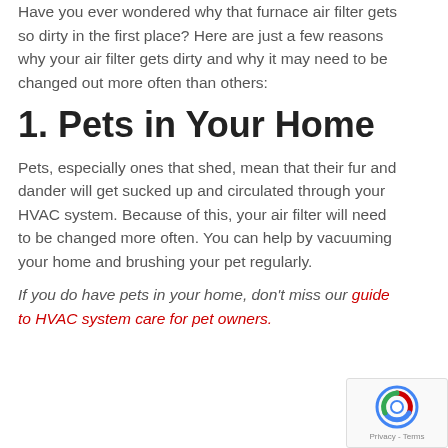Have you ever wondered why that furnace air filter gets so dirty in the first place? Here are just a few reasons why your air filter gets dirty and why it may need to be changed out more often than others:
1. Pets in Your Home
Pets, especially ones that shed, mean that their fur and dander will get sucked up and circulated through your HVAC system. Because of this, your air filter will need to be changed more often. You can help by vacuuming your home and brushing your pet regularly.
If you do have pets in your home, don't miss our guide to HVAC system care for pet owners.